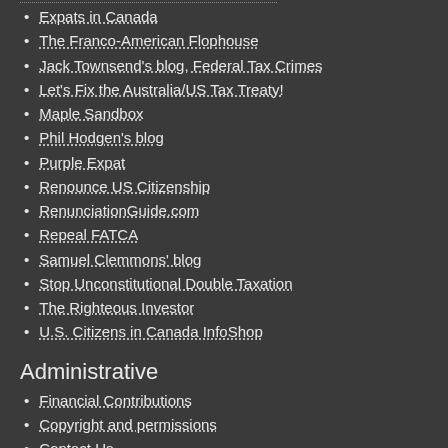Expats in Canada
The Franco-American Flophouse
Jack Townsend's blog, Federal Tax Crimes
Let's Fix the Australia/US Tax Treaty!
Maple Sandbox
Phil Hodgen's blog
Purple Expat
Renounce US Citizenship
RenunciationGuide.com
Repeal FATCA
Samuel Clemmons' blog
Stop Unconstitutional Double Taxation
The Righteous Investor
U.S. Citizens in Canada InfoShop
Administrative
Financial Contributions
Copyright and permissions
Contact Us
RSS - Posts
RSS - Comments